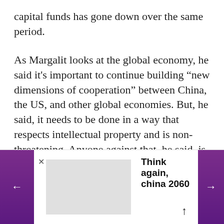capital funds has gone down over the same period.
As Margalit looks at the global economy, he said it's important to continue building “new dimensions of cooperation” between China, the US, and other global economies. But, he said, it needs to be done in a way that respects intellectual property and is non-threatening. Anyone against that, he said, is “crazy.”
“The biggest social change in China is happening
[Figure (screenshot): Bottom navigation/ad bar with purple left and right arrow buttons, a gray image placeholder, an X close button, the bold text 'Think again, china 2060', and an upward arrow icon.]